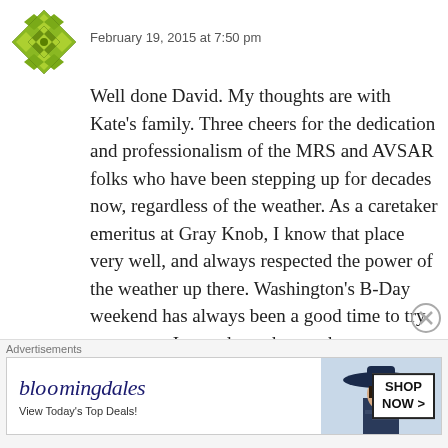[Figure (illustration): Green quilt-pattern avatar icon]
February 19, 2015 at 7:50 pm
Well done David. My thoughts are with Kate's family. Three cheers for the dedication and professionalism of the MRS and AVSAR folks who have been stepping up for decades now, regardless of the weather. As a caretaker emeritus at Gray Knob, I know that place very well, and always respected the power of the weather up there. Washington's B-Day weekend has always been a good time to try a traverse. In good weather we have run around those summits mid winter, at midnight by full moon–then
Advertisements
[Figure (screenshot): Bloomingdales advertisement banner with logo, tagline 'View Today's Top Deals!', woman in wide-brim hat, and 'SHOP NOW >' button]